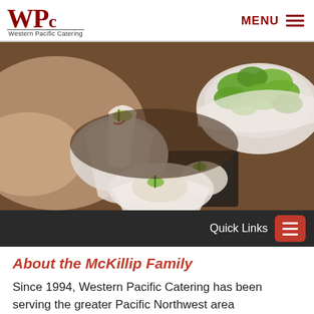WPC Western Pacific Catering | MENU
[Figure (photo): Close-up photo of catered food dishes including white bowls with appetizers, a small black square dish with garnished food, and a large white bowl filled with fresh green leafy salad, set on a dark wooden surface.]
Quick Links
About the McKillip Family
Since 1994, Western Pacific Catering has been serving the greater Pacific Northwest area